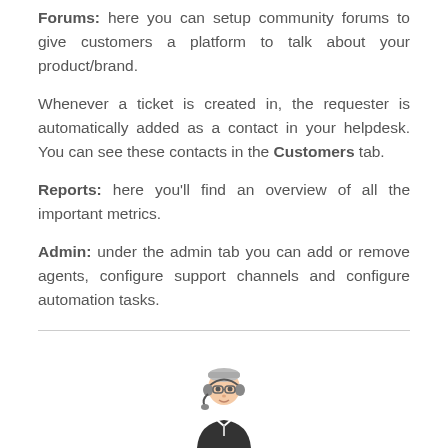Forums: here you can setup community forums to give customers a platform to talk about your product/brand.
Whenever a ticket is created in, the requester is automatically added as a contact in your helpdesk. You can see these contacts in the Customers tab.
Reports: here you'll find an overview of all the important metrics.
Admin: under the admin tab you can add or remove agents, configure support channels and configure automation tasks.
[Figure (illustration): Cartoon illustration of a customer support agent wearing a headset, partially visible at the bottom of the page.]